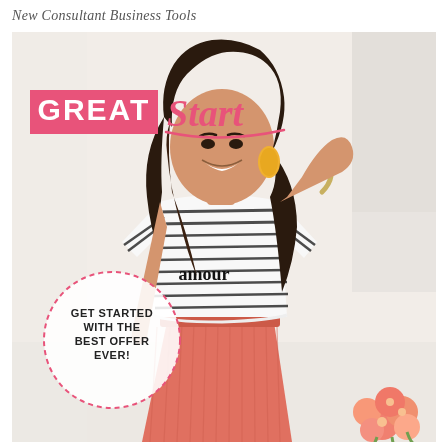New Consultant Business Tools
[Figure (photo): Promotional marketing page for 'GREAT Start' program. A smiling young woman with long brown hair wearing a black-and-white striped 'amour' t-shirt and coral/pink pleated midi skirt stands against a light background. She has yellow tassel earrings and a bracelet, with one hand raised behind her head. Pink flowers are visible in the bottom right corner. Overlaid text elements include a pink 'GREAT' banner and cursive 'Start' beside it, and a dashed circle with the text 'GET STARTED WITH THE BEST OFFER EVER!'.]